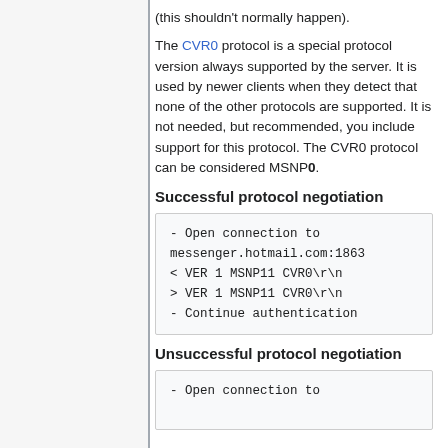(this shouldn't normally happen).
The CVR0 protocol is a special protocol version always supported by the server. It is used by newer clients when they detect that none of the other protocols are supported. It is not needed, but recommended, you include support for this protocol. The CVR0 protocol can be considered MSNP0.
Successful protocol negotiation
- Open connection to messenger.hotmail.com:1863
< VER 1 MSNP11 CVR0\r\n
> VER 1 MSNP11 CVR0\r\n
- Continue authentication
Unsuccessful protocol negotiation
- Open connection to